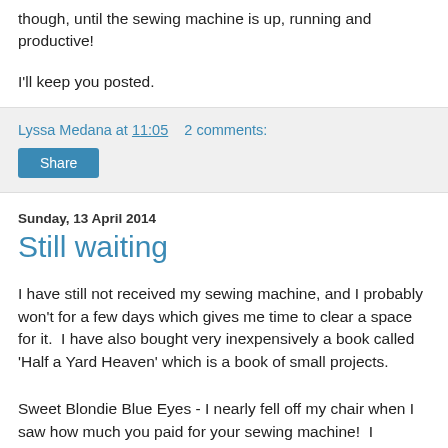though, until the sewing machine is up, running and productive!
I'll keep you posted.
Lyssa Medana at 11:05   2 comments:
Share
Sunday, 13 April 2014
Still waiting
I have still not received my sewing machine, and I probably won't for a few days which gives me time to clear a space for it.  I have also bought very inexpensively a book called 'Half a Yard Heaven' which is a book of small projects.
Sweet Blondie Blue Eyes - I nearly fell off my chair when I saw how much you paid for your sewing machine!  I suspect you are right, you get what you pay for.  I am holding back on getting a new sewing machine until the sewing machine is up, running and productive!